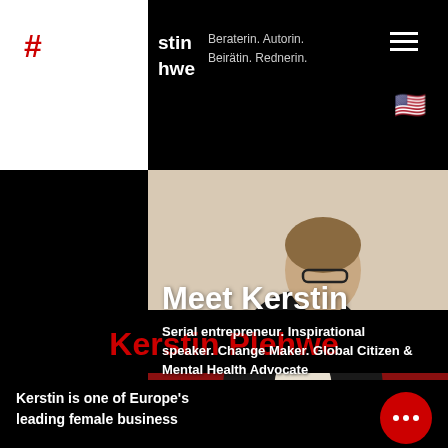# stin hwe — Beraterin. Autorin. Beirätin. Rednerin.
[Figure (photo): Photo of Kerstin Plehwe sitting on a red chair, wearing a black blazer and glasses, gesturing with her hands]
Meet Kerstin
Serial entrepreneur. Inspirational speaker. Change Maker. Global Citizen & Mental Health Advocate
Kerstin Plehwe
Kerstin is one of Europe's leading female business